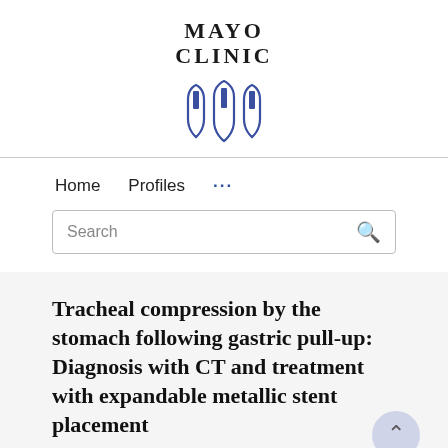[Figure (logo): Mayo Clinic logo with shield emblem and bold serif text reading MAYO CLINIC]
Home   Profiles   ...
Search
Tracheal compression by the stomach following gastric pull-up: Diagnosis with CT and treatment with expandable metallic stent placement